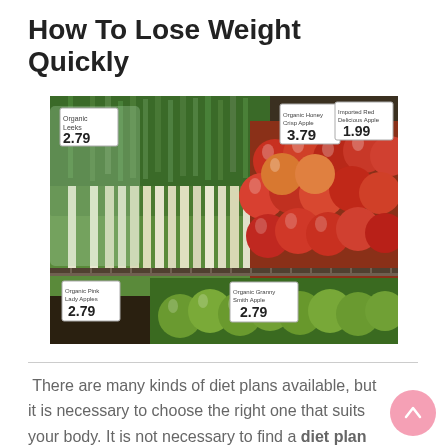How To Lose Weight Quickly
[Figure (photo): Grocery store produce display with leeks/green onions and red and green apples in wooden bins, with price signs visible (2.79, 3.79, 1.99, 2.79)]
There are many kinds of diet plans available, but it is necessary to choose the right one that suits your body. It is not necessary to find a diet plan or a diet program. You can make up your own timetable and set your own diet in a way that suits you.
The most important thing which you need to